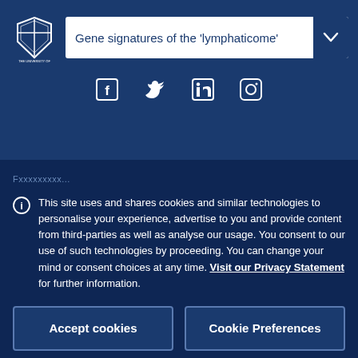[Figure (logo): University of Melbourne crest logo in white on dark blue background]
Gene signatures of the 'lymphaticome'
[Figure (infographic): Social media icons: Facebook, Twitter, LinkedIn, Instagram in white]
Fxxxxxxxxx...
This site uses and shares cookies and similar technologies to personalise your experience, advertise to you and provide content from third-parties as well as analyse our usage. You consent to our use of such technologies by proceeding. You can change your mind or consent choices at any time. Visit our Privacy Statement for further information.
Accept cookies
Cookie Preferences